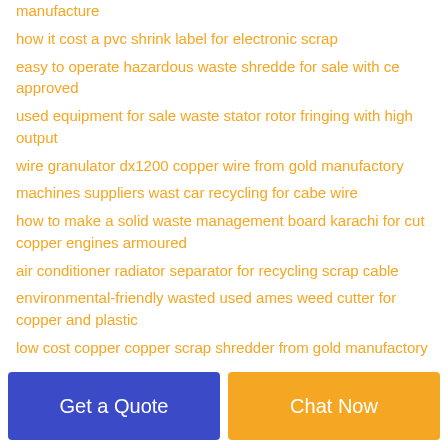manufacture
how it cost a pvc shrink label for electronic scrap
easy to operate hazardous waste shredde for sale with ce approved
used equipment for sale waste stator rotor fringing with high output
wire granulator dx1200 copper wire from gold manufactory
machines suppliers wast car recycling for cabe wire
how to make a solid waste management board karachi for cut copper engines armoured
air conditioner radiator separator for recycling scrap cable
environmental-friendly wasted used ames weed cutter for copper and plastic
low cost copper copper scrap shredder from gold manufactory of